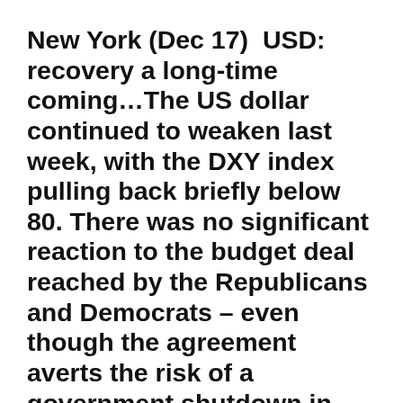New York (Dec 17)  USD: recovery a long-time coming…The US dollar continued to weaken last week, with the DXY index pulling back briefly below 80. There was no significant reaction to the budget deal reached by the Republicans and Democrats – even though the agreement averts the risk of a government shutdown in 2014.
We believe this deal has heightened the probability that the Federal Reserve will start to taper quantitative easing this week. Yet the greenback's response to economic indicators is diminishing. This raises several questions. For instance: has tapering already been priced into long-term interest rates and the US dollar? Does the market no longer want to be long on the greenback, due to the Fed's previous u-